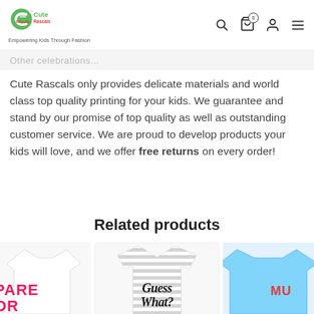Cute Rascals — Empowering Kids Through Fashion
Other Celebrations
Cute Rascals only provides delicate materials and world class top quality printing for your kids. We guarantee and stand by our promise of top quality as well as outstanding customer service. We are proud to develop products your kids will love, and we offer free returns on every order!
Related products
[Figure (photo): Three children's t-shirts shown as product thumbnails: a white t-shirt on the left with pink/red text, a gray striped t-shirt in the center with 'Guess What?' script text, and a light blue t-shirt on the right.]